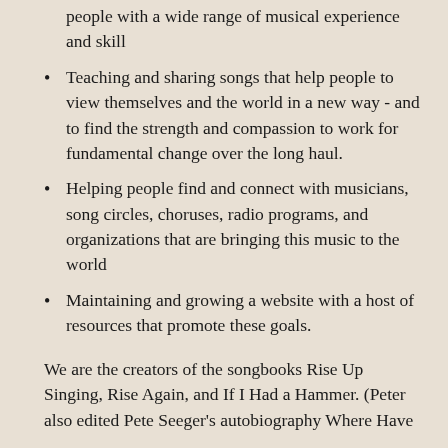people with a wide range of musical experience and skill
Teaching and sharing songs that help people to view themselves and the world in a new way - and to find the strength and compassion to work for fundamental change over the long haul.
Helping people find and connect with musicians, song circles, choruses, radio programs, and organizations that are bringing this music to the world
Maintaining and growing a website with a host of resources that promote these goals.
We are the creators of the songbooks Rise Up Singing, Rise Again, and If I Had a Hammer. (Peter also edited Pete Seeger’s autobiography Where Have